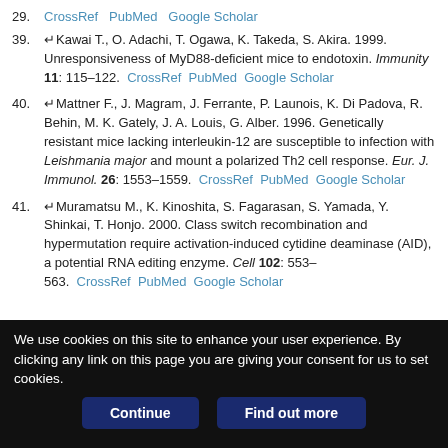29. CrossRef PubMed Google Scholar
39. ↵Kawai T., O. Adachi, T. Ogawa, K. Takeda, S. Akira. 1999. Unresponsiveness of MyD88-deficient mice to endotoxin. Immunity 11: 115–122. CrossRef PubMed Google Scholar
40. ↵Mattner F., J. Magram, J. Ferrante, P. Launois, K. Di Padova, R. Behin, M. K. Gately, J. A. Louis, G. Alber. 1996. Genetically resistant mice lacking interleukin-12 are susceptible to infection with Leishmania major and mount a polarized Th2 cell response. Eur. J. Immunol. 26: 1553–1559. CrossRef PubMed Google Scholar
41. ↵Muramatsu M., K. Kinoshita, S. Fagarasan, S. Yamada, Y. Shinkai, T. Honjo. 2000. Class switch recombination and hypermutation require activation-induced cytidine deaminase (AID), a potential RNA editing enzyme. Cell 102: 553–563. CrossRef PubMed Google Scholar
We use cookies on this site to enhance your user experience. By clicking any link on this page you are giving your consent for us to set cookies.